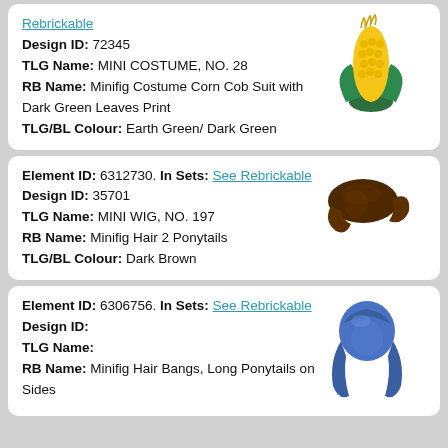Element ID: [top, cropped]. In Sets: See Rebrickable. Design ID: 72345. TLG Name: MINI COSTUME, NO. 28. RB Name: Minifig Costume Corn Cob Suit with Dark Green Leaves Print. TLG/BL Colour: Earth Green/ Dark Green
[Figure (illustration): LEGO minifig corn cob costume piece in yellow and dark green]
Element ID: 6312730. In Sets: See Rebrickable. Design ID: 35701. TLG Name: MINI WIG, NO. 197. RB Name: Minifig Hair 2 Ponytails. TLG/BL Colour: Dark Brown
[Figure (illustration): LEGO minifig dark brown hair piece with 2 ponytails]
Element ID: 6306756. In Sets: See Rebrickable. Design ID: (blank). TLG Name: (blank). RB Name: Minifig Hair Bangs, Long Ponytails on Sides
[Figure (illustration): LEGO minifig blue hair piece with bangs and long ponytails on sides]